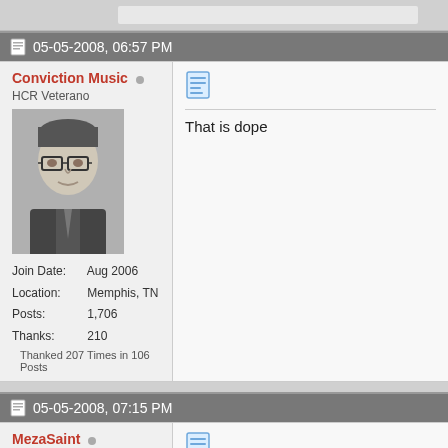05-05-2008, 06:57 PM
Conviction Music
HCR Veterano
Join Date: Aug 2006
Location: Memphis, TN
Posts: 1,706
Thanks: 210
Thanked 207 Times in 106 Posts
That is dope
05-05-2008, 07:15 PM
MezaSaint
HCR Familia
i'm Iron Man